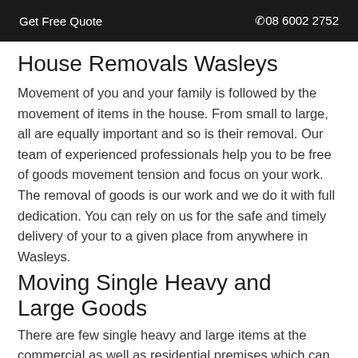Get Free Quote  08 6002 2752
House Removals Wasleys
Movement of you and your family is followed by the movement of items in the house. From small to large, all are equally important and so is their removal. Our team of experienced professionals help you to be free of goods movement tension and focus on your work. The removal of goods is our work and we do it with full dedication. You can rely on us for the safe and timely delivery of your to a given place from anywhere in Wasleys.
Moving Single Heavy and  Large Goods
There are few single heavy and large items at the commercial as well as residential premises which can